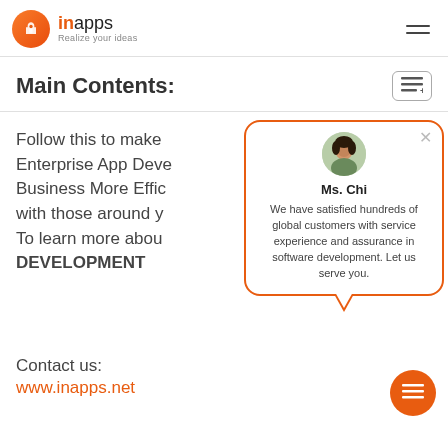[Figure (logo): InApps logo with orange circle icon and text 'inapps Realize your ideas']
Main Contents:
Follow this to make Enterprise App Development Business More Efficient with those around you. To learn more about DEVELOPMENT
[Figure (illustration): Chat popup with avatar of Ms. Chi and message: We have satisfied hundreds of global customers with service experience and assurance in software development. Let us serve you.]
Contact us:
www.inapps.net
Rate this post